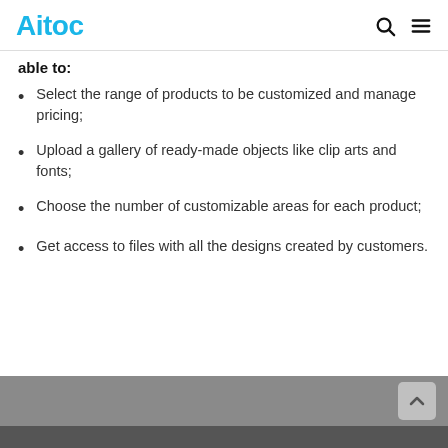Aitoc
able to:
Select the range of products to be customized and manage pricing;
Upload a gallery of ready-made objects like clip arts and fonts;
Choose the number of customizable areas for each product;
Get access to files with all the designs created by customers.
[Figure (screenshot): Bottom portion of a screenshot with gray background, partially visible.]